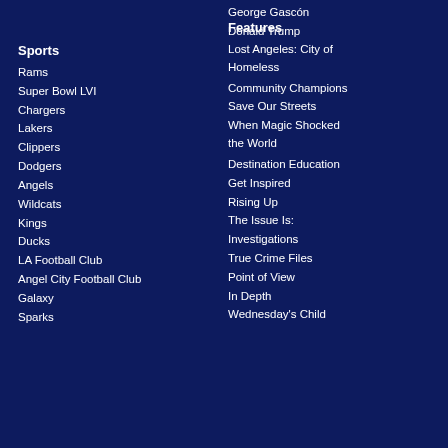George Gascón
Donald Trump
Sports
Rams
Super Bowl LVI
Chargers
Lakers
Clippers
Dodgers
Angels
Wildcats
Kings
Ducks
LA Football Club
Angel City Football Club
Galaxy
Sparks
Features
Lost Angeles: City of Homeless
Community Champions
Save Our Streets
When Magic Shocked the World
Destination Education
Get Inspired
Rising Up
The Issue Is:
Investigations
True Crime Files
Point of View
In Depth
Wednesday's Child